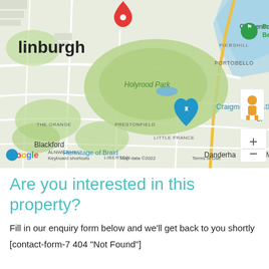[Figure (map): Google Maps screenshot showing Edinburgh area including Holyrood Park, Craigmillar Castle, Portobello Beach, Hermitage of Braid, Blackford, Little France, Liberton, ALNWICKHILL, PRESTONFIELD, Piershill, Craigentinny, THE GRANGE, PORTOBELLO, Danderhall areas. A red location pin marker is visible near top center. Map data ©2022 Google. Includes Street View pegman icon, zoom in (+) and zoom out (-) controls.]
Are you interested in this property?
Fill in our enquiry form below and we'll get back to you shortly
[contact-form-7 404 "Not Found"]